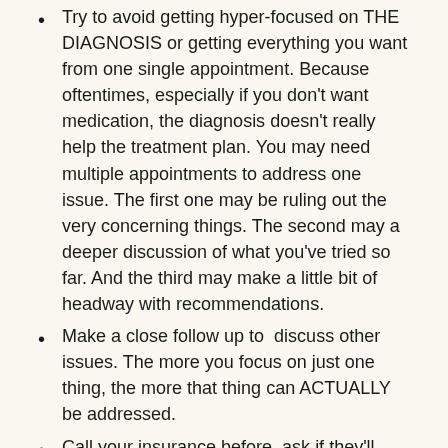Try to avoid getting hyper-focused on THE DIAGNOSIS or getting everything you want from one single appointment. Because oftentimes, especially if you don't want medication, the diagnosis doesn't really help the treatment plan. You may need multiple appointments to address one issue. The first one may be ruling out the very concerning things. The second may a deeper discussion of what you've tried so far. And the third may make a little bit of headway with recommendations.
Make a close follow up to discuss other issues. The more you focus on just one thing, the more that thing can ACTUALLY be addressed.
Call your insurance before, ask if they'll